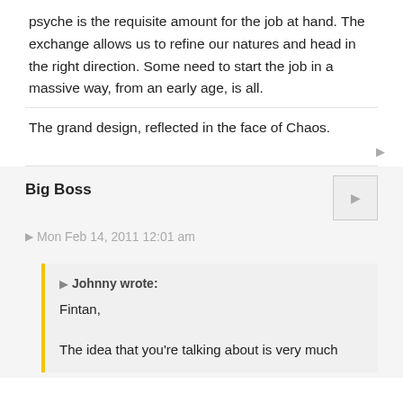psyche is the requisite amount for the job at hand. The exchange allows us to refine our natures and head in the right direction. Some need to start the job in a massive way, from an early age, is all.
The grand design, reflected in the face of Chaos.
Big Boss
Mon Feb 14, 2011 12:01 am
Johnny wrote:
Fintan,

The idea that you're talking about is very much